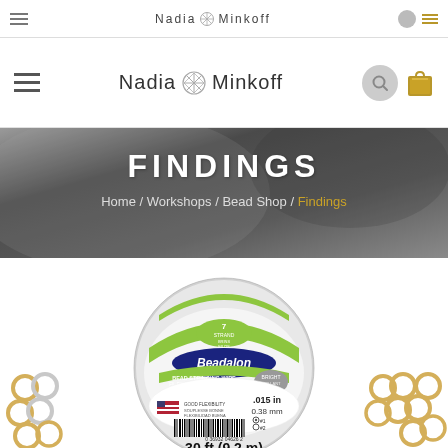Nadia Minkoff
[Figure (screenshot): Nadia Minkoff website header with hamburger menu, logo with snowflake, search circle and bag icon]
[Figure (photo): Dark monochrome hero banner image with text FINDINGS and breadcrumb Home / Workshops / Bead Shop / Findings]
FINDINGS
Home / Workshops / Bead Shop / Findings
[Figure (photo): Beadalon 7-strand bead stringing wire spool, 0.015 in / 0.38 mm, bright, 30 ft (9.2 m), JW02T-0, with gold and silver jump rings scattered around it]